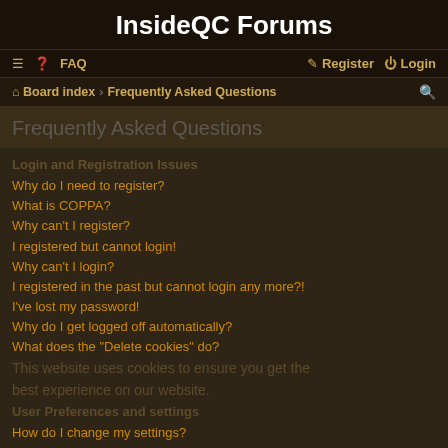InsideQC Forums
≡  FAQ    Register  Login
Board index › Frequently Asked Questions
Frequently Asked Questions
Login and Registration Issues
Why do I need to register?
What is COPPA?
Why can't I register?
I registered but cannot login!
Why can't I login?
I registered in the past but cannot login any more?!
I've lost my password!
Why do I get logged off automatically?
What does the "Delete cookies" do?
This website uses cookies to ensure you get the best experience on our website.
User Preferences and settings
How do I change my settings?
How do I prevent my username appearing in the online user listings?
The times are not correct!
I changed the timezone and the time is still wrong!
My language is not in the list!
What are the images next to my username?
How do I display an avatar?